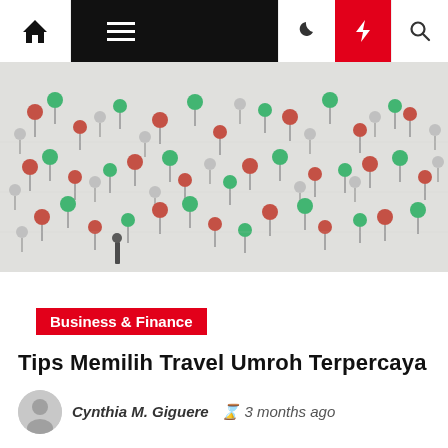Navigation bar with home, menu, dark mode, lightning, and search icons
[Figure (photo): Aerial view of a large crowd of people with colorful umbrellas (red, green) on a light background, viewed from above]
Business & Finance
Tips Memilih Travel Umroh Terpercaya
Cynthia M. Giguere  ⏱ 3 months ago
Travel umroh Jakarta merupakan biro penyelenggara ibadah umroh yang memudahkan calon jemaah melakukan perjalanan ibadah ke Makkah. Masyarakat yang ingin melaksanakan ibadah umrah agar berhati-hati memilih travel penyelenggara umrah.